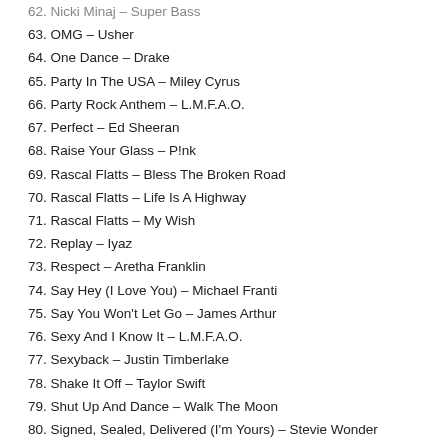62. Nicki Minaj – Super Bass
63. OMG – Usher
64. One Dance – Drake
65. Party In The USA – Miley Cyrus
66. Party Rock Anthem – L.M.F.A.O.
67. Perfect – Ed Sheeran
68. Raise Your Glass – P!nk
69. Rascal Flatts – Bless The Broken Road
70. Rascal Flatts – Life Is A Highway
71. Rascal Flatts – My Wish
72. Replay – Iyaz
73. Respect – Aretha Franklin
74. Say Hey (I Love You) – Michael Franti
75. Say You Won't Let Go – James Arthur
76. Sexy And I Know It – L.M.F.A.O.
77. Sexyback – Justin Timberlake
78. Shake It Off – Taylor Swift
79. Shut Up And Dance – Walk The Moon
80. Signed, Sealed, Delivered (I'm Yours) – Stevie Wonder
81. Single Ladies (Put A Ring On It) – Beyoncé
82. Speechless – Dan + Shay
83. Sugar – Maroon 5